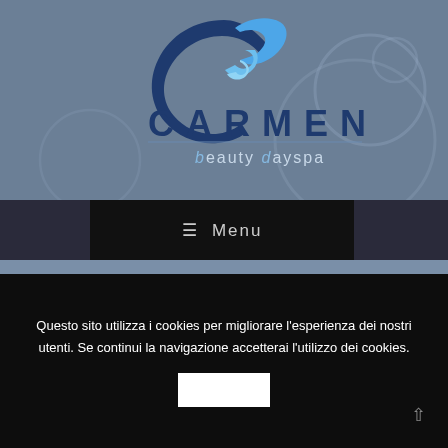[Figure (logo): Carmen Beauty Dayspa logo with stylized blue C and swoosh graphic above the text CARMEN beauty dayspa]
≡  Menu
Questo sito utilizza i cookies per migliorare l'esperienza dei nostri utenti. Se continui la navigazione accetterai l'utilizzo dei cookies.